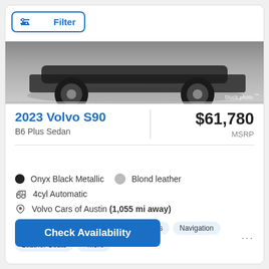Filter
[Figure (photo): Partial view of a dark car (bottom/wheel area) on a gray surface, with 'Stock photo' watermark in bottom right corner]
2023 Volvo S90
B6 Plus Sedan
$61,780
MSRP
Onyx Black Metallic   Blond leather
4cyl Automatic
Volvo Cars of Austin (1,055 mi away)
AWD/4WD   Bluetooth   Heated seats   Navigation   Leather Seats   +more
Check Availability